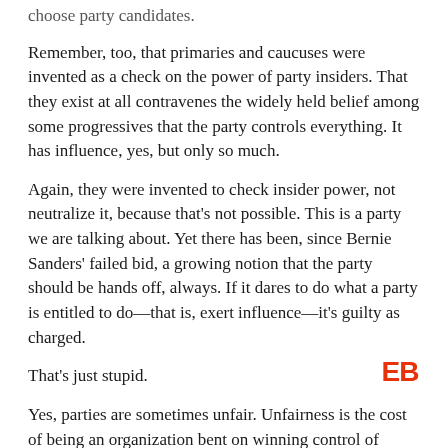choose party candidates.
Remember, too, that primaries and caucuses were invented as a check on the power of party insiders. That they exist at all contravenes the widely held belief among some progressives that the party controls everything. It has influence, yes, but only so much.
Again, they were invented to check insider power, not neutralize it, because that's not possible. This is a party we are talking about. Yet there has been, since Bernie Sanders' failed bid, a growing notion that the party should be hands off, always. If it dares to do what a party is entitled to do—that is, exert influence—it's guilty as charged.
That's just stupid.
Yes, parties are sometimes unfair. Unfairness is the cost of being an organization bent on winning control of government and taking hold of power. It means some people lose and some people win. It also means the party can make spectacular mistakes, which give critics more reason to blast it for not being progressive enough.
It's true that some candidates might not be progressive